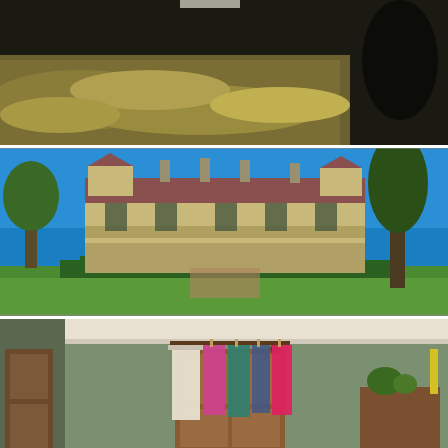[Figure (photo): Close-up photograph of dry grass/grain seeds scattered on dark asphalt or pavement, with a human shadow visible in the upper right corner. Warm golden tones.]
[Figure (photo): Exterior photograph of a large heritage sandstone mansion with a dark red/maroon roof, verandahs, multiple chimneys and dormer windows. Surrounded by formal gardens with hedges, ornamental trees, and a large conifer on the right. Bright blue sky.]
[Figure (photo): Interior room photograph with sage green walls and white ceiling cornice. A wooden wardrobe/armoire stands in the centre with colourful dresses and a white garment hanging from it on coat hangers. A dark wooden door is visible on the left, and a dresser with plants on the right.]